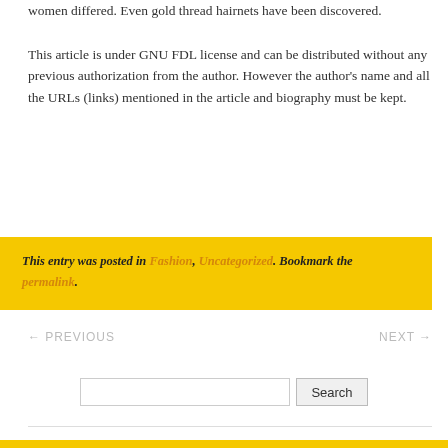women differed. Even gold thread hairnets have been discovered.
This article is under GNU FDL license and can be distributed without any previous authorization from the author. However the author’s name and all the URLs (links) mentioned in the article and biography must be kept.
This entry was posted in Fashion, Uncategorized. Bookmark the permalink.
← PREVIOUS
NEXT →